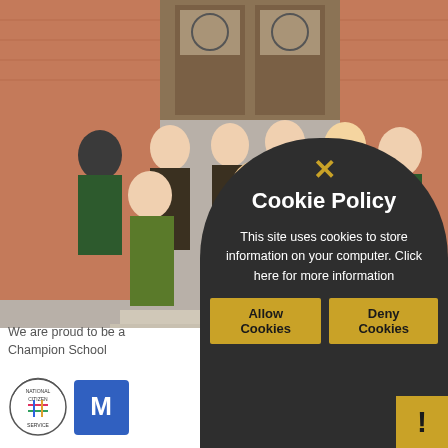[Figure (photo): Group photo of students and staff in green sports jackets and formal wear standing on steps outside a building with ornate doors. One person holds a certificate and another holds an award trophy.]
We are proud to be a Champion School
[Figure (logo): National Citizen Service logo and another partially visible logo]
[Figure (infographic): Cookie Policy modal overlay with dark rounded top background. Contains a yellow X close button, title 'Cookie Policy', body text 'This site uses cookies to store information on your computer. Click here for more information', and two yellow buttons: 'Allow Cookies' and 'Deny Cookies'. A yellow warning exclamation mark icon is at bottom right.]